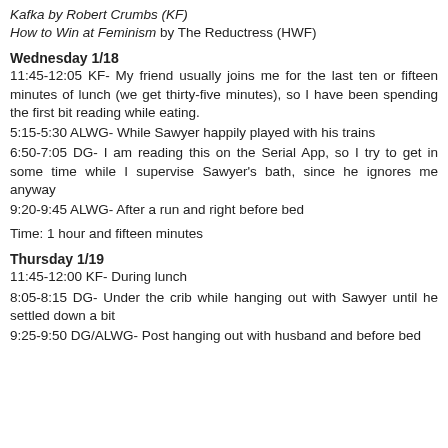Kafka by Robert Crumbs (KF)
How to Win at Feminism by The Reductress (HWF)
Wednesday 1/18
11:45-12:05 KF- My friend usually joins me for the last ten or fifteen minutes of lunch (we get thirty-five minutes), so I have been spending the first bit reading while eating.
5:15-5:30 ALWG- While Sawyer happily played with his trains
6:50-7:05 DG- I am reading this on the Serial App, so I try to get in some time while I supervise Sawyer's bath, since he ignores me anyway
9:20-9:45 ALWG- After a run and right before bed
Time: 1 hour and fifteen minutes
Thursday 1/19
11:45-12:00 KF- During lunch
8:05-8:15 DG- Under the crib while hanging out with Sawyer until he settled down a bit
9:25-9:50 DG/ALWG- Post hanging out with husband and before bed